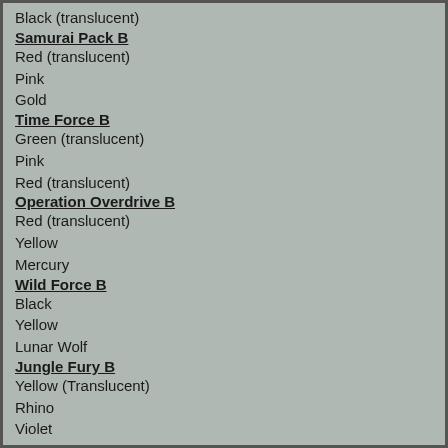Black (translucent)
Samurai Pack B
Red (translucent)
Pink
Gold
Time Force B
Green (translucent)
Pink
Red (translucent)
Operation Overdrive B
Red (translucent)
Yellow
Mercury
Wild Force B
Black
Yellow
Lunar Wolf
Jungle Fury B
Yellow (Translucent)
Rhino
Violet